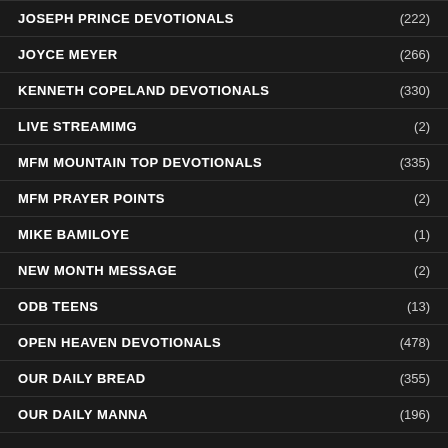JOSEPH PRINCE DEVOTIONALS (222)
JOYCE MEYER (266)
KENNETH COPELAND DEVOTIONALS (330)
LIVE STREAMIMG (2)
MFM MOUNTAIN TOP DEVOTIONALS (335)
MFM PRAYER POINTS (2)
MIKE BAMILOYE (1)
NEW MONTH MESSAGE (2)
ODB TEENS (13)
OPEN HEAVEN DEVOTIONALS (478)
OUR DAILY BREAD (355)
OUR DAILY MANNA (196)